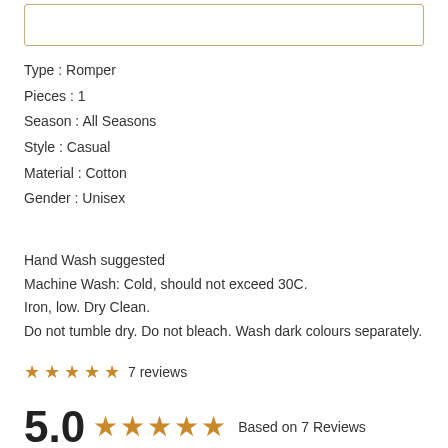[Figure (other): Image placeholder box with brown/tan border]
Type : Romper
Pieces : 1
Season : All Seasons
Style : Casual
Material : Cotton
Gender : Unisex
Hand Wash suggested
Machine Wash: Cold, should not exceed 30C.
Iron, low. Dry Clean.
Do not tumble dry. Do not bleach. Wash dark colours separately.
★★★★★ 7 reviews
5.0 ★★★★★ Based on 7 Reviews